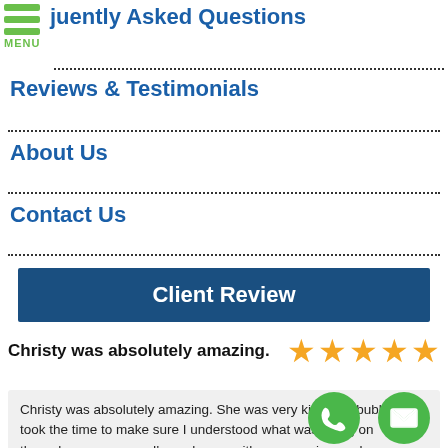juently Asked Questions
Reviews & Testimonials
About Us
Contact Us
Client Review
Christy was absolutely amazing.
Christy was absolutely amazing. She was very kind and bubbly. She took the time to make sure I understood what was going on throughout the process. I'm so happy with my experience...ad